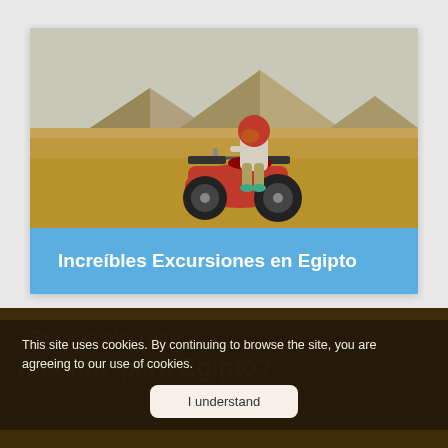[Figure (photo): Person riding a red ATV quad bike in the Egyptian desert with the Pyramids of Giza visible in the background under a hazy sky.]
Increíbles Excursiones en Egipto
¿Buscas algo a tu medida para Egipto?
Envíe una consulta y le prepararemos un tipo unico de viaje a su gusto
This site uses cookies. By continuing to browse the site, you are agreeing to our use of cookies.
I understand